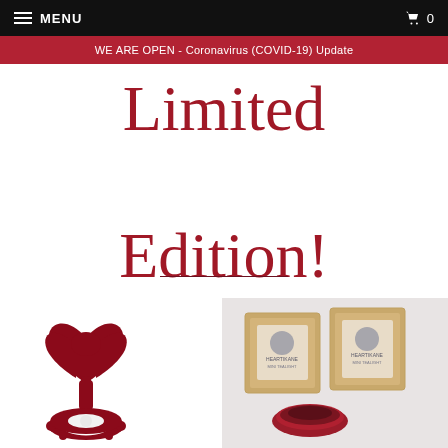MENU  0
WE ARE OPEN - Coronavirus (COVID-19) Update
Limited Edition!
[Figure (photo): Red heart-shaped cast iron candle holder with decorative wreath base, photographed from slightly above]
[Figure (photo): Two Heartikane branded kraft paper box candle packages with dark red/burgundy ceramic bowl candles, displayed on light grey background]